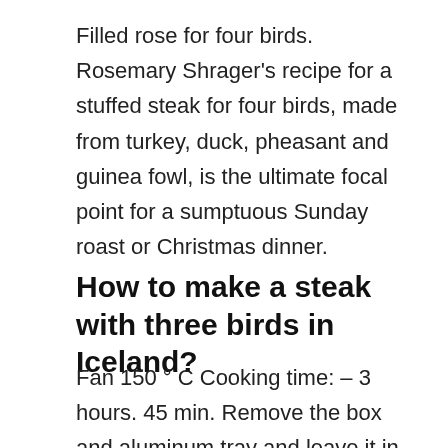Filled rose for four birds. Rosemary Shrager's recipe for a stuffed steak for four birds, made from turkey, duck, pheasant and guinea fowl, is the ultimate focal point for a sumptuous Sunday roast or Christmas dinner.
How to make a steak with three birds in Iceland?
Fan 150 ° C Cooking time: – 3 hours. 45 min. Remove the box and aluminum tray and leave it in paper packaging. Place on a plate